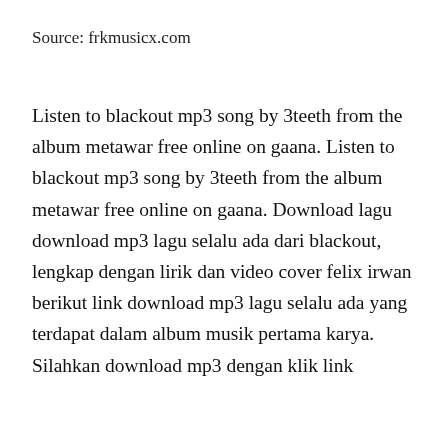Source: frkmusicx.com
Listen to blackout mp3 song by 3teeth from the album metawar free online on gaana. Listen to blackout mp3 song by 3teeth from the album metawar free online on gaana. Download lagu download mp3 lagu selalu ada dari blackout, lengkap dengan lirik dan video cover felix irwan berikut link download mp3 lagu selalu ada yang terdapat dalam album musik pertama karya. Silahkan download mp3 dengan klik link